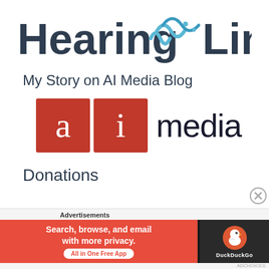[Figure (logo): HearingLink logo with stylized sound wave icon between 'Hearing' and 'Link' text in dark slate color]
My Story on AI Media Blog
[Figure (logo): AI Media logo: two red squares with white letters 'a' and 'i', followed by 'media' in dark text]
Donations
[Figure (screenshot): Advertisement banner: DuckDuckGo ad - 'Search, browse, and email with more privacy. All in One Free App' on red background with DuckDuckGo duck logo on dark background]